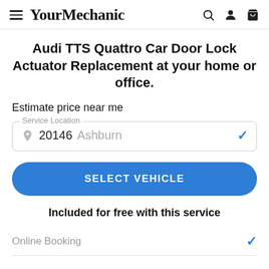YourMechanic
Audi TTS Quattro Car Door Lock Actuator Replacement at your home or office.
Estimate price near me
Service Location — 20146 Ashburn
SELECT VEHICLE
Included for free with this service
Online Booking